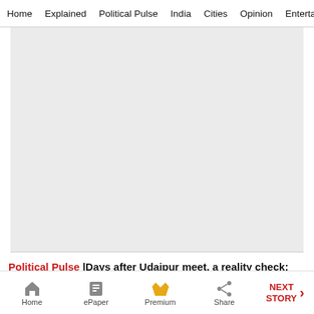Home  Explained  Political Pulse  India  Cities  Opinion  Entertainment
[Figure (other): Gray advertisement placeholder area]
Political Pulse |Days after Udaipur meet, a reality check: Hardik lists issues which Congress shirked
Home  ePaper  Premium  Share  NEXT STORY